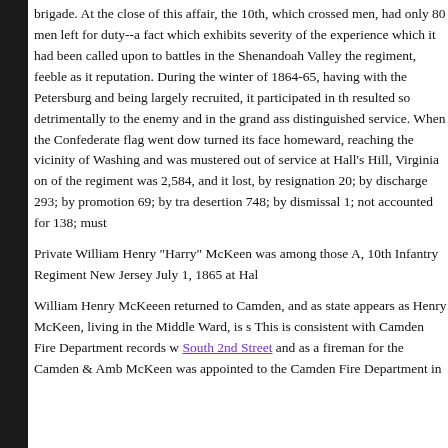brigade. At the close of this affair, the 10th, which crossed men, had only 80 men left for duty--a fact which exhibits severity of the experience which it had been called upon to battles in the Shenandoah Valley the regiment, feeble as it reputation. During the winter of 1864-65, having with the Petersburg and being largely recruited, it participated in th resulted so detrimentally to the enemy and in the grand ass distinguished service. When the Confederate flag went dow turned its face homeward, reaching the vicinity of Washing and was mustered out of service at Hall's Hill, Virginia on of the regiment was 2,584, and it lost, by resignation 20; by discharge 293; by promotion 69; by tra desertion 748; by dismissal 1; not accounted for 138; must
Private William Henry "Harry" McKeen was among those A, 10th Infantry Regiment New Jersey July 1, 1865 at Hal
William Henry McKeeen returned to Camden, and as state appears as Henry McKeen, living in the Middle Ward, is s This is consistent with Camden Fire Department records w South 2nd Street and as a fireman for the Camden & Amb McKeen was appointed to the Camden Fire Department in